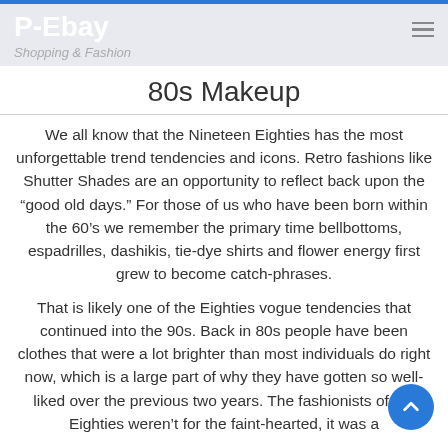P-Ebay — Shopping & Fashion
80s Makeup
We all know that the Nineteen Eighties has the most unforgettable trend tendencies and icons. Retro fashions like Shutter Shades are an opportunity to reflect back upon the “good old days.” For those of us who have been born within the 60’s we remember the primary time bellbottoms, espadrilles, dashikis, tie-dye shirts and flower energy first grew to become catch-phrases.
That is likely one of the Eighties vogue tendencies that continued into the 90s. Back in 80s people have been clothes that were a lot brighter than most individuals do right now, which is a large part of why they have gotten so well-liked over the previous two years. The fashionists of the Eighties weren’t for the faint-hearted, it was a